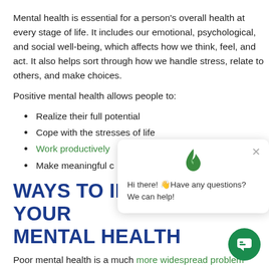Mental health is essential for a person's overall health at every stage of life. It includes our emotional, psychological, and social well-being, which affects how we think, feel, and act. It also helps sort through how we handle stress, relate to others, and make choices.
Positive mental health allows people to:
Realize their full potential
Cope with the stresses of life
Work productively
Make meaningful contributions
WAYS TO IMPROVE YOUR MENTAL HEALTH
Poor mental health is a much more widespread problem